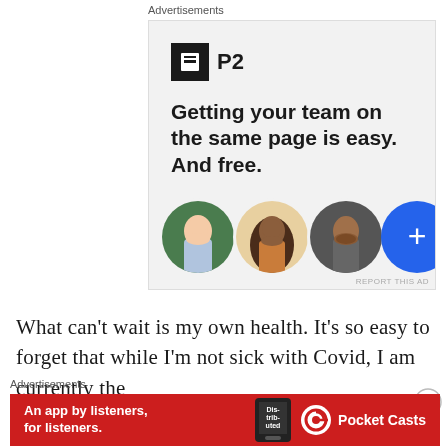Advertisements
[Figure (infographic): P2 advertisement showing logo, headline 'Getting your team on the same page is easy. And free.' with three circular avatar photos and a blue plus button]
REPORT THIS AD
What can't wait is my own health. It's so easy to forget that while I'm not sick with Covid, I am currently the sole caretaker and I have to take care of me as well. I
Advertisements
[Figure (infographic): Pocket Casts advertisement: red background with 'An app by listeners, for listeners.' text, a phone showing 'Distributed' text, and Pocket Casts logo]